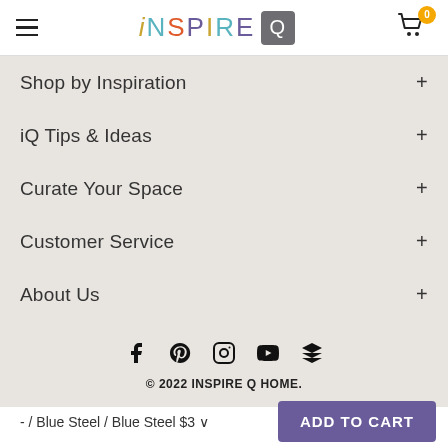iNSPIRE Q
Shop by Inspiration +
iQ Tips & Ideas +
Curate Your Space +
Customer Service +
About Us +
[Figure (infographic): Social media icons: Facebook, Pinterest, Instagram, YouTube, Houzz]
© 2022 INSPIRE Q HOME.
- / Blue Steel / Blue Steel $3   ADD TO CART